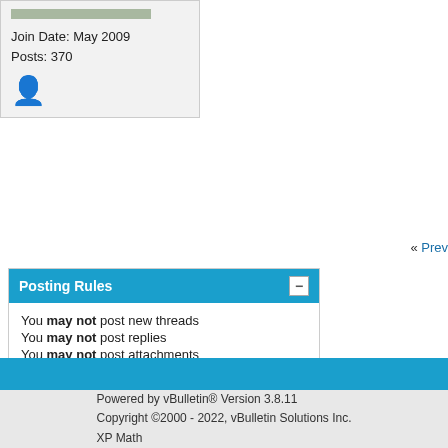Join Date: May 2009
Posts: 370
« Prev
Posting Rules
You may not post new threads
You may not post replies
You may not post attachments
You may not edit your posts
BB code is On
Smilies are On
[IMG] code is On
HTML code is Off
Forum Rules
All times are G
Powered by vBulletin® Version 3.8.11
Copyright ©2000 - 2022, vBulletin Solutions Inc.
XP Math